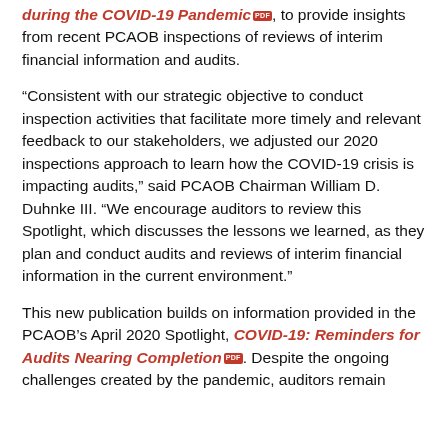during the COVID-19 Pandemic [PDF], to provide insights from recent PCAOB inspections of reviews of interim financial information and audits.
“Consistent with our strategic objective to conduct inspection activities that facilitate more timely and relevant feedback to our stakeholders, we adjusted our 2020 inspections approach to learn how the COVID-19 crisis is impacting audits,” said PCAOB Chairman William D. Duhnke III. “We encourage auditors to review this Spotlight, which discusses the lessons we learned, as they plan and conduct audits and reviews of interim financial information in the current environment.”
This new publication builds on information provided in the PCAOB’s April 2020 Spotlight, COVID-19: Reminders for Audits Nearing Completion [PDF]. Despite the ongoing challenges created by the pandemic, auditors remain